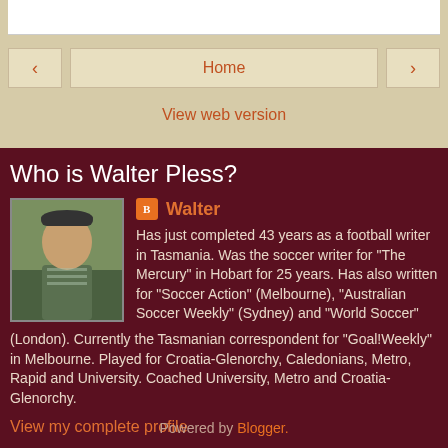[Figure (screenshot): Top beige navigation area with search bar, back/forward arrows, Home button, and View web version link]
Home
View web version
Who is Walter Pless?
[Figure (photo): Profile photo of Walter Pless, an older man with a cap, outdoors]
Walter
Has just completed 43 years as a football writer in Tasmania. Was the soccer writer for "The Mercury" in Hobart for 25 years. Has also written for "Soccer Action" (Melbourne), "Australian Soccer Weekly" (Sydney) and "World Soccer" (London). Currently the Tasmanian correspondent for "Goal!Weekly" in Melbourne. Played for Croatia-Glenorchy, Caledonians, Metro, Rapid and University. Coached University, Metro and Croatia-Glenorchy.
View my complete profile
Powered by Blogger.